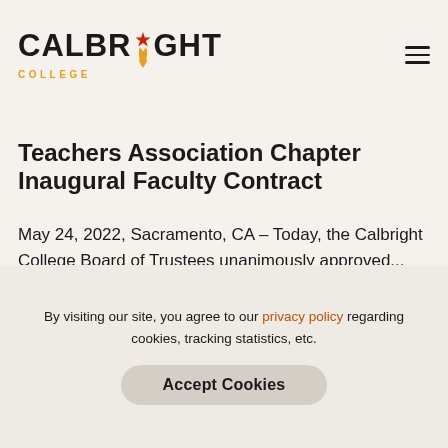CALBRIGHT COLLEGE
Teachers Association Chapter Ratify Inaugural Faculty Contract
May 24, 2022, Sacramento, CA – Today, the Calbright College Board of Trustees unanimously approved...
[Figure (photo): Dark/black image block at bottom of page content area]
By visiting our site, you agree to our privacy policy regarding cookies, tracking statistics, etc.
Accept Cookies